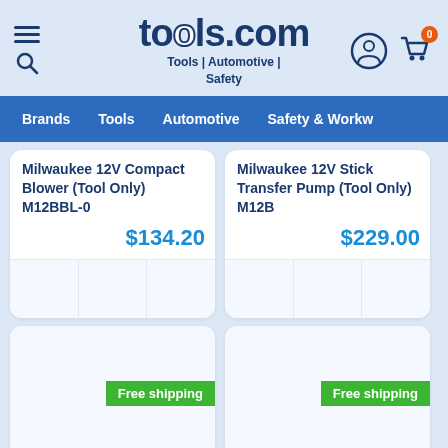tools.com — Tools | Automotive | Safety
Brands  Tools  Automotive  Safety & Work...
Milwaukee 12V Compact Blower (Tool Only) M12BBL-0
$134.20
Milwaukee 12V Stick Transfer Pump (Tool Only) M12B
$229.00
Free shipping
Free shipping